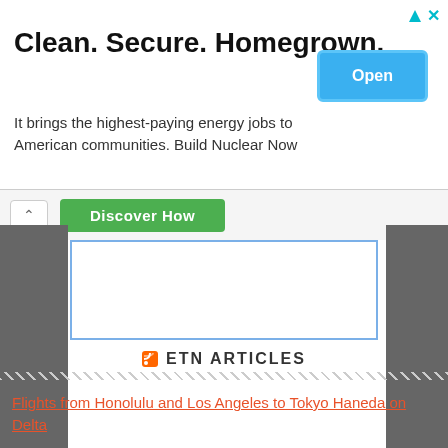Clean. Secure. Homegrown.
It brings the highest-paying energy jobs to American communities. Build Nuclear Now
[Figure (screenshot): Open button (blue rounded rectangle) in ad banner]
[Figure (screenshot): Discover How green button with collapse chevron widget]
[Figure (screenshot): Blue-bordered empty box widget area with dark background on sides]
ETN ARTICLES
Flights from Honolulu and Los Angeles to Tokyo Haneda on Delta
Gambia tired of being a cheap sex hub for British grandmothers